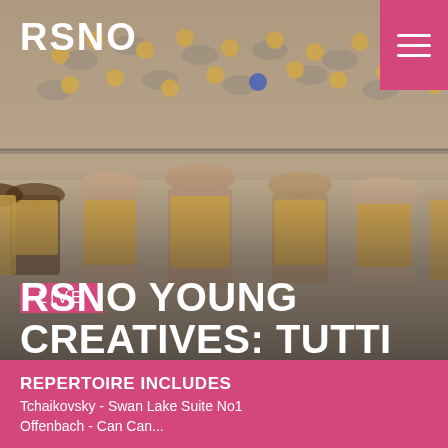[Figure (photo): Young musicians in yellow t-shirts standing in front of an orchestra rehearsal in a concert hall, viewed from above showing many players with music stands]
RSNO
LIVE
RSNO YOUNG CREATIVES: TUTTI
Sun 12 June
REPERTOIRE INCLUDES
Tchaikovsky - Swan Lake Suite No1
Offenbach - Can Can...